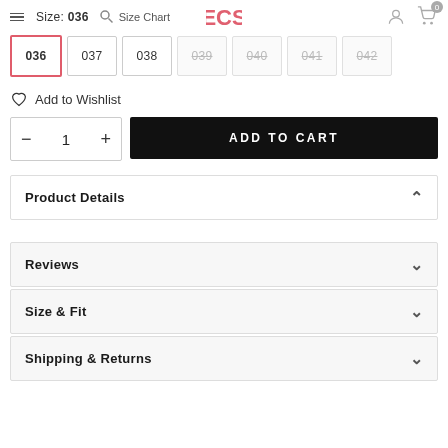Size: 036  Size Chart  [logo]  [user icon]  [cart icon 0]
036 (selected), 037, 038, 039 (unavailable), 040 (unavailable), 041 (unavailable), 042 (unavailable)
Add to Wishlist
— 1 +  ADD TO CART
Product Details
Reviews
Size & Fit
Shipping & Returns